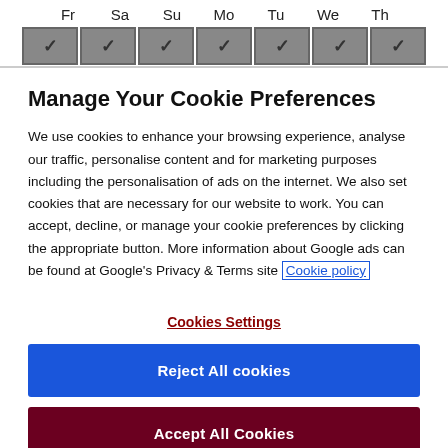[Figure (screenshot): Day selector row with checkboxes for Fr, Sa, Su, Mo, Tu, We, Th — each with a dark grey checked checkbox below the day label.]
Manage Your Cookie Preferences
We use cookies to enhance your browsing experience, analyse our traffic, personalise content and for marketing purposes including the personalisation of ads on the internet. We also set cookies that are necessary for our website to work. You can accept, decline, or manage your cookie preferences by clicking the appropriate button. More information about Google ads can be found at Google's Privacy & Terms site Cookie policy
Cookies Settings
Reject All cookies
Accept All Cookies